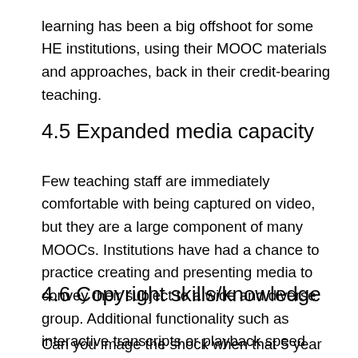learning has been a big offshoot for some HE institutions, using their MOOC materials and approaches, back in their credit-bearing teaching.
4.5 Expanded media capacity
Few teaching staff are immediately comfortable with being captured on video, but they are a large component of many MOOCs. Institutions have had a chance to practice creating and presenting media to convey their subject to a wide and diverse group. Additional functionality such as interactive transcripts or playback speed have added further benefits to media delivery on these courses.
4.6 Copyright skills/knowledge
Can you image the shock when that 5 year old PowerPoint with many noncredited  images from 'not